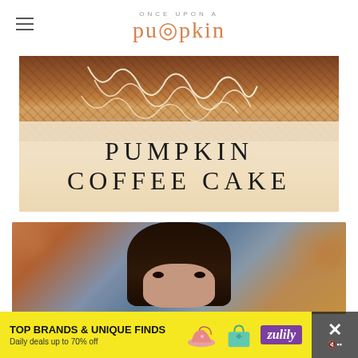Once Upon a Pumpkin
[Figure (photo): Overhead photo of pumpkin coffee cake with streusel topping and cream drizzle on a wire rack, with text overlay reading PUMPKIN COFFEE CAKE in large serif letters]
[Figure (photo): Photo of a young woman peeking over the bottom of the image frame with bokeh background]
TOP BRANDS & UNIQUE FINDS
Daily deals up to 70% off